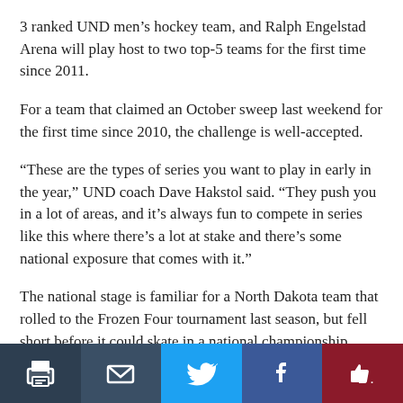3 ranked UND men's hockey team, and Ralph Engelstad Arena will play host to two top-5 teams for the first time since 2011.
For a team that claimed an October sweep last weekend for the first time since 2010, the challenge is well-accepted.
“These are the types of series you want to play in early in the year,” UND coach Dave Hakstol said. “They push you in a lot of areas, and it’s always fun to compete in series like this where there’s a lot at stake and there’s some national exposure that comes with it.”
The national stage is familiar for a North Dakota team that rolled to the Frozen Four tournament last season, but fell short before it could skate in a national championship game.
The Friars also made the national tournament — just one game away from making the Frozen Four.
Both teams squared off in Grand Forks on Jan. 20, 1989, Providence
[Figure (other): Social sharing toolbar with five buttons: print (dark navy), email (dark blue-gray), Twitter (blue bird icon), Facebook (dark blue f icon), recommend/thumbs-up (dark red).]